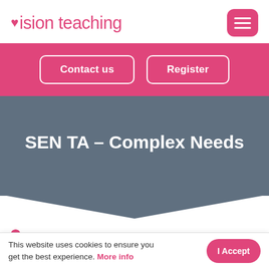vision teaching
[Figure (screenshot): Navigation bar with 'Contact us' and 'Register' buttons on pink background]
SEN TA – Complex Needs
Hillingdon, London
This website uses cookies to ensure you get the best experience. More info